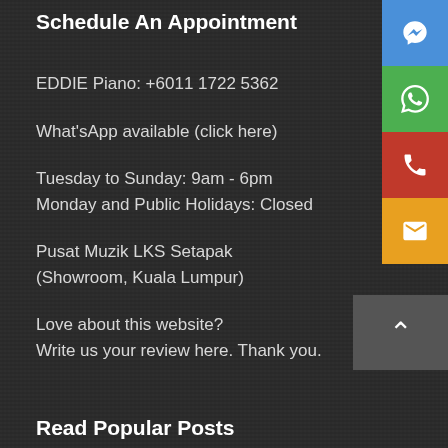Schedule An Appointment
EDDIE Piano: +6011 1722 5362
What'sApp available (click here)
Tuesday to Sunday: 9am - 6pm
Monday and Public Holidays: Closed
Pusat Muzik LKS Setapak
(Showroom, Kuala Lumpur)
Love about this website?
Write us your review here. Thank you.
Read Popular Posts